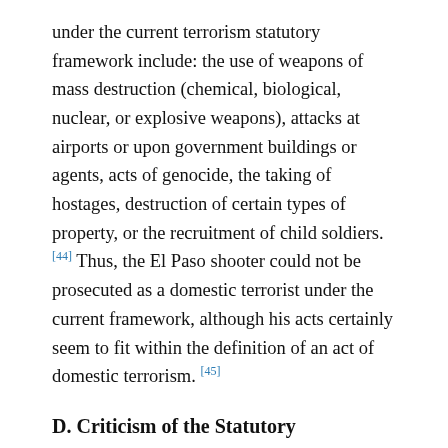under the current terrorism statutory framework include: the use of weapons of mass destruction (chemical, biological, nuclear, or explosive weapons), attacks at airports or upon government buildings or agents, acts of genocide, the taking of hostages, destruction of certain types of property, or the recruitment of child soldiers. [44] Thus, the El Paso shooter could not be prosecuted as a domestic terrorist under the current framework, although his acts certainly seem to fit within the definition of an act of domestic terrorism. [45]
D. Criticism of the Statutory